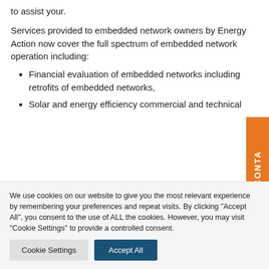to assist your.
Services provided to embedded network owners by Energy Action now cover the full spectrum of embedded network operation including:
Financial evaluation of embedded networks including retrofits of embedded networks,
Solar and energy efficiency commercial and technical
We use cookies on our website to give you the most relevant experience by remembering your preferences and repeat visits. By clicking "Accept All", you consent to the use of ALL the cookies. However, you may visit "Cookie Settings" to provide a controlled consent.
Cookie Settings | Accept All